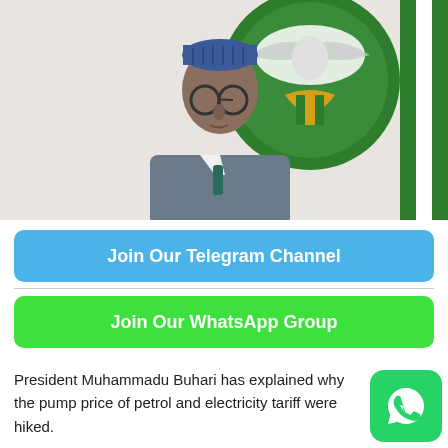[Figure (photo): President Muhammadu Buhari speaking at a podium with the Nigerian coat of arms emblem visible in the background on a white banner.]
Join Our Telegram Channel
Join Our WhatsApp Group
President Muhammadu Buhari has explained why the pump price of petrol and electricity tariff were hiked.
[Figure (logo): WhatsApp logo icon — white phone handset on green rounded square background.]